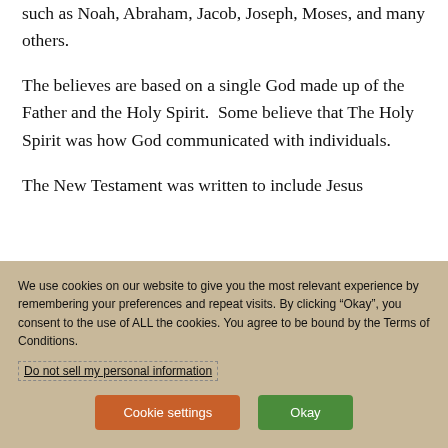such as Noah, Abraham, Jacob, Joseph, Moses, and many others.
The believes are based on a single God made up of the Father and the Holy Spirit.  Some believe that The Holy Spirit was how God communicated with individuals.
The New Testament was written to include Jesus
We use cookies on our website to give you the most relevant experience by remembering your preferences and repeat visits. By clicking “Okay”, you consent to the use of ALL the cookies. You agree to be bound by the Terms of Conditions.
Do not sell my personal information
Cookie settings
Okay